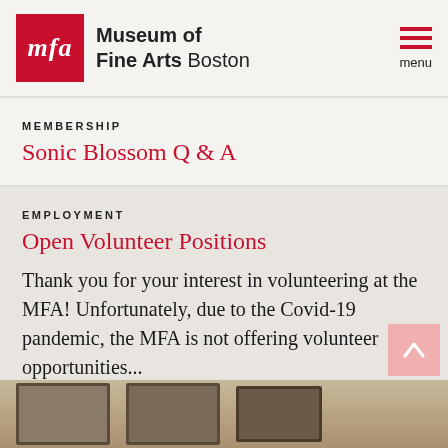Museum of Fine Arts Boston
MEMBERSHIP
Sonic Blossom Q & A
EMPLOYMENT
Open Volunteer Positions
Thank you for your interest in volunteering at the MFA! Unfortunately, due to the Covid-19 pandemic, the MFA is not offering volunteer opportunities...
[Figure (photo): Partial photo strip showing framed artwork on a wall, visible at the bottom of the page]